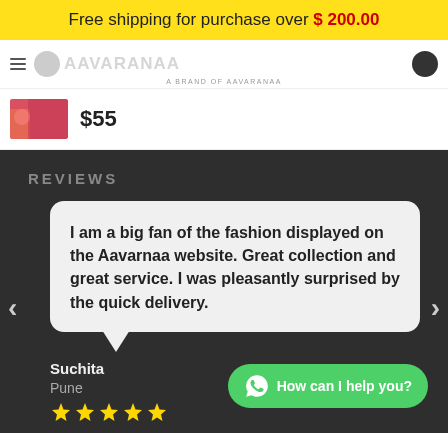Free shipping for purchase over $ 200.00
[Figure (logo): Aavarnaa brand logo header with menu, logo text and circle icon]
$55
REVIEWS
I am a big fan of the fashion displayed on the Aavarnaa website. Great collection and great service. I was pleasantly surprised by the quick delivery.
Suchita
Pune
[Figure (infographic): Five gold star rating]
How can I help you?